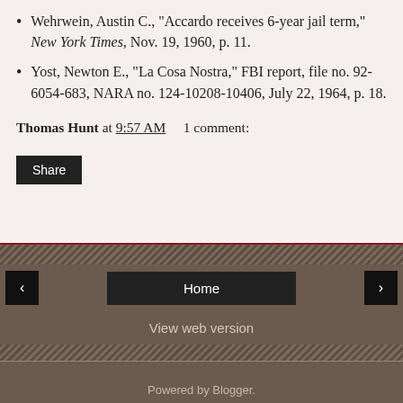Wehrwein, Austin C., "Accardo receives 6-year jail term," New York Times, Nov. 19, 1960, p. 11.
Yost, Newton E., "La Cosa Nostra," FBI report, file no. 92-6054-683, NARA no. 124-10208-10406, July 22, 1964, p. 18.
Thomas Hunt at 9:57 AM   1 comment:
Share
< Home > View web version Powered by Blogger.